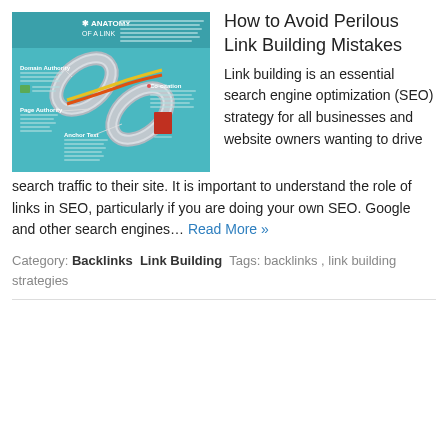[Figure (infographic): Infographic titled 'Anatomy of a Link' showing interlinked chain links with labels for Domain Authority, Page Authority, Co-citation, and Anchor Text on a teal background.]
How to Avoid Perilous Link Building Mistakes
Link building is an essential search engine optimization (SEO) strategy for all businesses and website owners wanting to drive search traffic to their site. It is important to understand the role of links in SEO, particularly if you are doing your own SEO. Google and other search engines… Read More »
Category: Backlinks  Link Building  Tags: backlinks , link building strategies